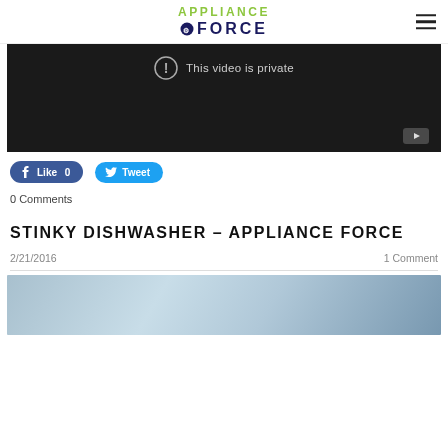APPLIANCE FORCE
[Figure (screenshot): Video player showing 'This video is private' message with exclamation icon and YouTube icon in bottom right corner]
[Figure (other): Facebook Like button with count 0 and Twitter Tweet button]
0 Comments
STINKY DISHWASHER – APPLIANCE FORCE
2/21/2016   1 Comment
[Figure (photo): Close-up photo of dishwasher rack interior, metallic blue-grey tones]